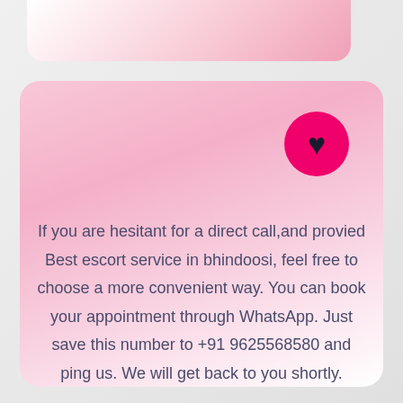[Figure (illustration): Pink gradient card with a hot pink circle containing a dark heart icon in the upper right]
If you are hesitant for a direct call,and provied Best escort service in bhindoosi, feel free to choose a more convenient way. You can book your appointment through WhatsApp. Just save this number to +91 9625568580 and ping us. We will get back to you shortly.